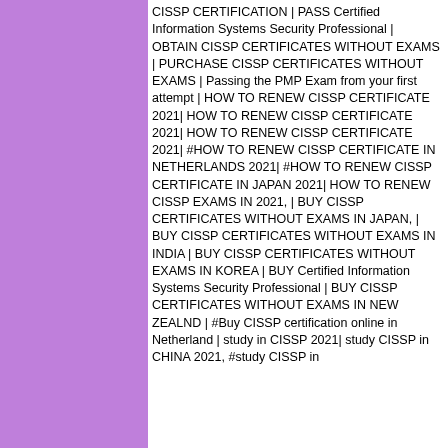CISSP CERTIFICATION | PASS Certified Information Systems Security Professional | OBTAIN CISSP CERTIFICATES WITHOUT EXAMS | PURCHASE CISSP CERTIFICATES WITHOUT EXAMS | Passing the PMP Exam from your first attempt | HOW TO RENEW CISSP CERTIFICATE 2021| HOW TO RENEW CISSP CERTIFICATE 2021| HOW TO RENEW CISSP CERTIFICATE 2021| #HOW TO RENEW CISSP CERTIFICATE IN NETHERLANDS 2021| #HOW TO RENEW CISSP CERTIFICATE IN JAPAN 2021| HOW TO RENEW CISSP EXAMS IN 2021, | BUY CISSP CERTIFICATES WITHOUT EXAMS IN JAPAN, | BUY CISSP CERTIFICATES WITHOUT EXAMS IN INDIA | BUY CISSP CERTIFICATES WITHOUT EXAMS IN KOREA | BUY Certified Information Systems Security Professional | BUY CISSP CERTIFICATES WITHOUT EXAMS IN NEW ZEALND | #Buy CISSP certification online in Netherland | study in CISSP 2021| study CISSP in CHINA 2021, #study CISSP in